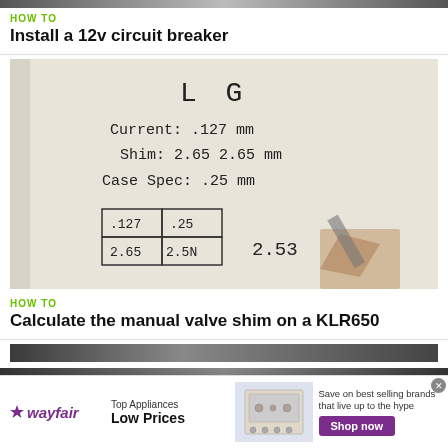HOW TO
Install a 12v circuit breaker
[Figure (photo): Handwritten notes on paper showing: LG, Current: .127 mm, Shim: 2.65 2.65 mm, Case Spec: .25 mm, with a hand-drawn table showing values .127, .25, 2.65, 2.5N and the number 2.53, with a pencil writing]
HOW TO
Calculate the manual valve shim on a KLR650
[Figure (photo): Partial photo strip at bottom of page, dark/gray tones]
[Figure (other): Wayfair advertisement: Top Appliances Low Prices, Save on best selling brands that live up to the hype, Shop now button, with oven/range appliance image]